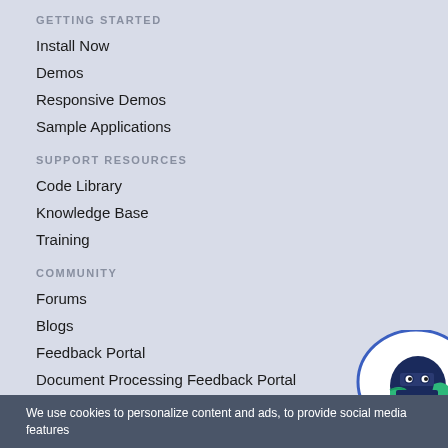GETTING STARTED
Install Now
Demos
Responsive Demos
Sample Applications
SUPPORT RESOURCES
Code Library
Knowledge Base
Training
COMMUNITY
Forums
Blogs
Feedback Portal
Document Processing Feedback Portal
[Figure (illustration): Ninja mascot avatar icon with dark blue outfit and green scarf, shown in a circular white badge with blue border, partially cropped at right edge]
We use cookies to personalize content and ads, to provide social media features